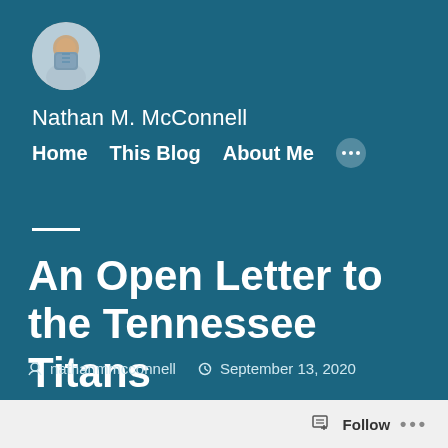[Figure (photo): Circular avatar photo of Nathan M. McConnell, a smiling man in a light blue shirt]
Nathan M. McConnell
Home   This Blog   About Me   ...
An Open Letter to the Tennessee Titans
nathanmmcconnell   September 13, 2020
Follow   ...